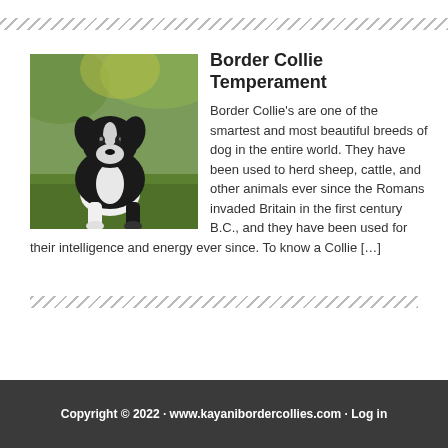[Figure (photo): A black and white Border Collie puppy sitting on green grass with a blurred green background]
Border Collie Temperament
Border Collie's are one of the smartest and most beautiful breeds of dog in the entire world. They have been used to herd sheep, cattle, and other animals ever since the Romans invaded Britain in the first century B.C., and they have been used for their intelligence and energy ever since. To know a Collie […]
Copyright © 2022 · www.kayanibordercollies.com · Log in